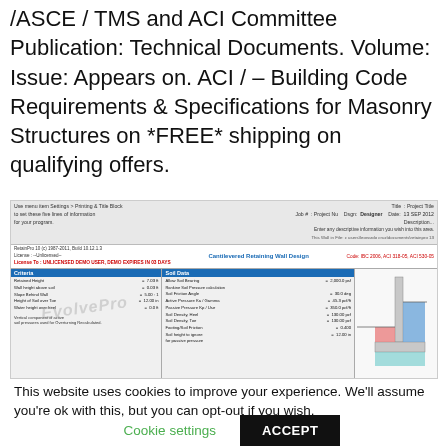/ASCE / TMS and ACI Committee Publication: Technical Documents. Volume: Issue: Appears on. ACI / – Building Code Requirements & Specifications for Masonry Structures on *FREE* shipping on qualifying offers.
[Figure (screenshot): Screenshot of RetainPro software showing Cantilevered Retaining Wall Design interface with Criteria and Soil Data panels, and a small diagram of a retaining wall cross-section. Watermark visible. License shown as UNLICENSED DEMO USER, DEMO EXPIRES IN 03 DAYS.]
This website uses cookies to improve your experience. We'll assume you're ok with this, but you can opt-out if you wish.
Cookie settings
ACCEPT